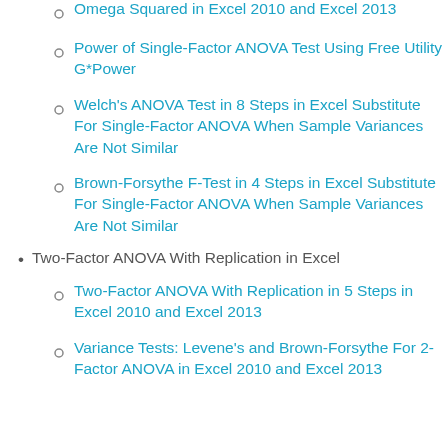Omega Squared in Excel 2010 and Excel 2013
Power of Single-Factor ANOVA Test Using Free Utility G*Power
Welch's ANOVA Test in 8 Steps in Excel Substitute For Single-Factor ANOVA When Sample Variances Are Not Similar
Brown-Forsythe F-Test in 4 Steps in Excel Substitute For Single-Factor ANOVA When Sample Variances Are Not Similar
Two-Factor ANOVA With Replication in Excel
Two-Factor ANOVA With Replication in 5 Steps in Excel 2010 and Excel 2013
Variance Tests: Levene's and Brown-Forsythe For 2-Factor ANOVA in Excel 2010 and Excel 2013